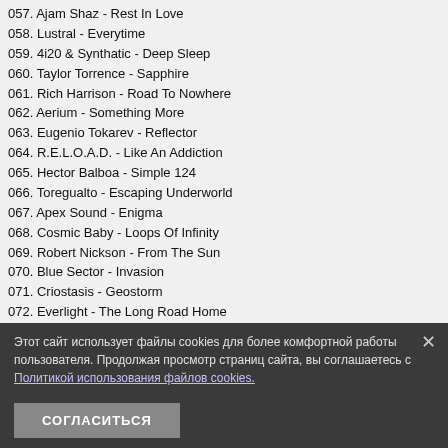057. Ajam Shaz - Rest In Love
058. Lustral - Everytime
059. 4i20 & Synthatic - Deep Sleep
060. Taylor Torrence - Sapphire
061. Rich Harrison - Road To Nowhere
062. Aerium - Something More
063. Eugenio Tokarev - Reflector
064. R.E.L.O.A.D. - Like An Addiction
065. Hector Balboa - Simple 124
066. Toregualto - Escaping Underworld
067. Apex Sound - Enigma
068. Cosmic Baby - Loops Of Infinity
069. Robert Nickson - From The Sun
070. Blue Sector - Invasion
071. Criostasis - Geostorm
072. Everlight - The Long Road Home
073. Vertex - Tree Of Life
074. Nikolauss - Omi
075. Gaia-X - Laniakea
076. S-Cosmos - Sirius
077. Starpicker - Pleiades
078. Ben Projekt - Rise Of Life
079. Atomo - Mermaid Cave
080. M.I.K.E. Push & Trinitro - Endless Balance
081. Sonicwork - Valley Of Fire
082. P.H.A.T.T. - Break Point
083. Hector Balboa - Travel
084. Umloud - Groove Cycle
085. Lost In Time - Enigma
086. One Million Tons - Weight
087. Sapphire Sword - Itsumademo
088. [obscured]
089. Eddie Murray - [obscured]
090. Glassman - Terra Australis
091. Kenny Palmer - Kirin Tor
092. F4l4l3rr0r - Habits
093. Billy Daniel Bunter - In Complete Darkness
Этот сайт использует файлы cookies для более комфортной работы пользователя. Продолжая просмотр страниц сайта, вы соглашаетесь с Политикой использования файлов cookies.
СОГЛАСИТЬСЯ